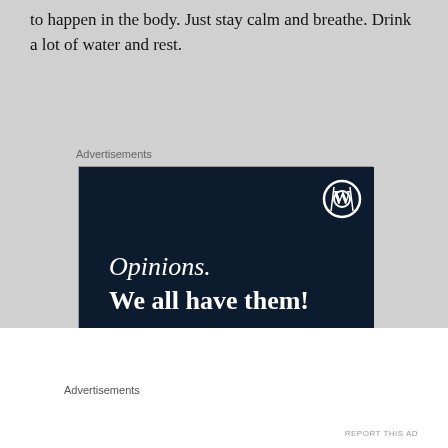Ascension is a literal physical event. Changes are going to happen in the body. Just stay calm and breathe. Drink a lot of water and rest.
Advertisements
[Figure (screenshot): Dark navy blue advertisement banner for WordPress/Crowdsignal with text 'Opinions. We all have them!' and a pink 'Start a survey' button. WordPress logo top right and Crowdsignal circular logo bottom right.]
Advertisements
REPORT THIS AD